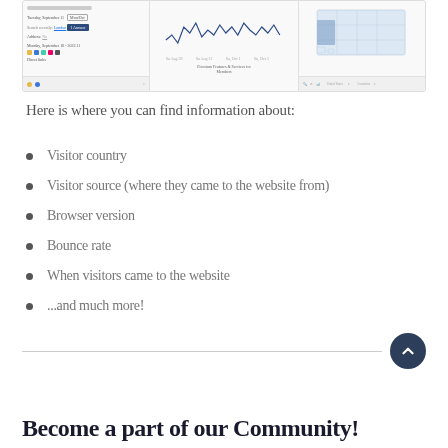[Figure (screenshot): Screenshot showing analytics dashboard panels with visitor data, a line chart, and a US map visualization.]
Here is where you can find information about:
Visitor country
Visitor source (where they came to the website from)
Browser version
Bounce rate
When visitors came to the website
...and much more!
Become a part of our Community!